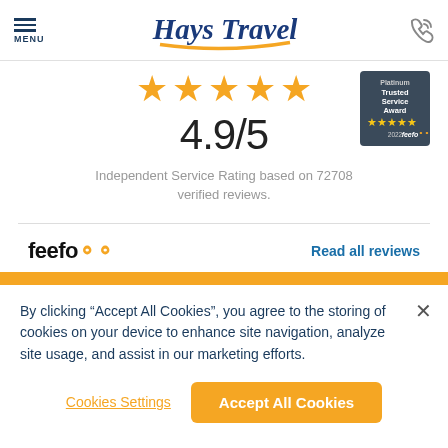MENU | Hays Travel
[Figure (infographic): Five gold stars rating display with score 4.9/5 and Feefo Platinum Trusted Service Award 2022 badge]
4.9/5
Independent Service Rating based on 72708 verified reviews.
[Figure (logo): Feefo logo]
Read all reviews
By clicking “Accept All Cookies”, you agree to the storing of cookies on your device to enhance site navigation, analyze site usage, and assist in our marketing efforts.
Cookies Settings
Accept All Cookies